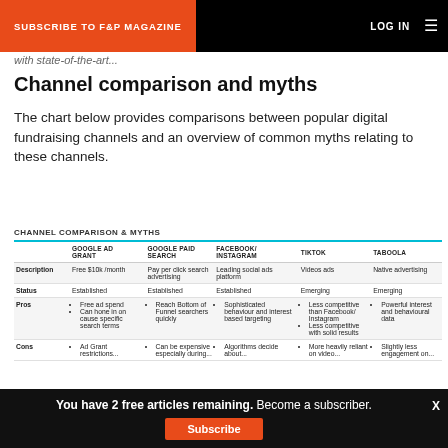SUBSCRIBE TO F&P MAGAZINE   LOG IN
with state-of-the-art...
Channel comparison and myths
The chart below provides comparisons between popular digital fundraising channels and an overview of common myths relating to these channels.
|  | GOOGLE AD GRANT | GOOGLE PAID SEARCH | FACEBOOK/INSTAGRAM | TIKTOK | TABOOLA |
| --- | --- | --- | --- | --- | --- |
| Description | Free $10k /month | Pay per click search advertising | Leading social ads platform | Videos ads | Native advertising |
| Status | Established | Established | Established | Emerging | Emerging |
| Pros | • Free ad spend
• Can hone in on cause specific search terms | • Reach Bottom of Funnel searchers quickly | • Sophisticated behaviour and interest based targeting | • Less competitive than Facebook/Instagram
• Less competitive with solid results | • Powerful interest and behavioural data |
| Cons | • Ad Grant restrictions... | • Can be expensive especially during... | • Algorithms decide about... | • More heavily reliant on video... | • Slightly less engagement on... |
You have 2 free articles remaining. Become a subscriber.